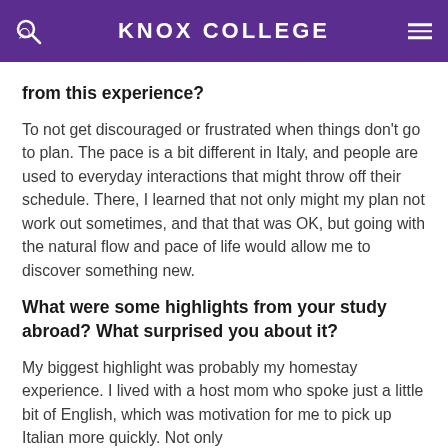KNOX COLLEGE
from this experience?
To not get discouraged or frustrated when things don't go to plan. The pace is a bit different in Italy, and people are used to everyday interactions that might throw off their schedule. There, I learned that not only might my plan not work out sometimes, and that that was OK, but going with the natural flow and pace of life would allow me to discover something new.
What were some highlights from your study abroad? What surprised you about it?
My biggest highlight was probably my homestay experience. I lived with a host mom who spoke just a little bit of English, which was motivation for me to pick up Italian more quickly. Not only